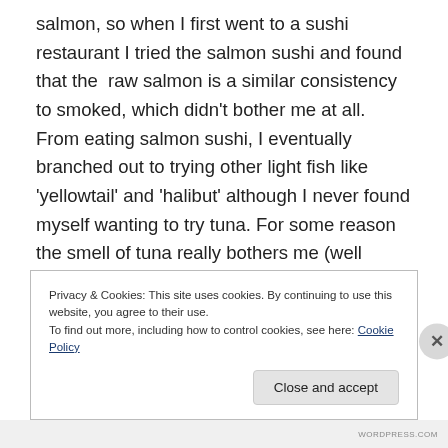salmon, so when I first went to a sushi restaurant I tried the salmon sushi and found that the  raw salmon is a similar consistency to smoked, which didn't bother me at all. From eating salmon sushi, I eventually branched out to trying other light fish like 'yellowtail' and 'halibut' although I never found myself wanting to try tuna. For some reason the smell of tuna really bothers me (well canned tuna anyway) and for the longest time I couldn't get my mind set out of that.
Privacy & Cookies: This site uses cookies. By continuing to use this website, you agree to their use.
To find out more, including how to control cookies, see here: Cookie Policy